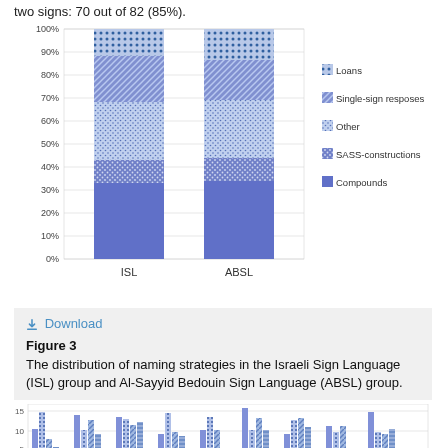two signs: 70 out of 82 (85%).
[Figure (stacked-bar-chart): ]
Figure 3
The distribution of naming strategies in the Israeli Sign Language (ISL) group and Al-Sayyid Bedouin Sign Language (ABSL) group.
[Figure (grouped-bar-chart): Grouped bar chart showing distribution across multiple categories for ISL and ABSL groups, y-axis from 0 to 15.]